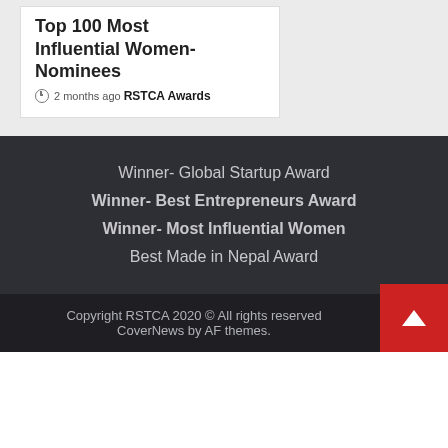Top 100 Most Influential Women- Nominees
2 months ago  RSTCA Awards
Winner- Global Startup Award
Winner- Best Entrepreneurs Award
Winner- Most Influential Women
Best Made in Nepal Award
Copyright RSTCA 2020 © All rights reserved. CoverNews by AF themes.